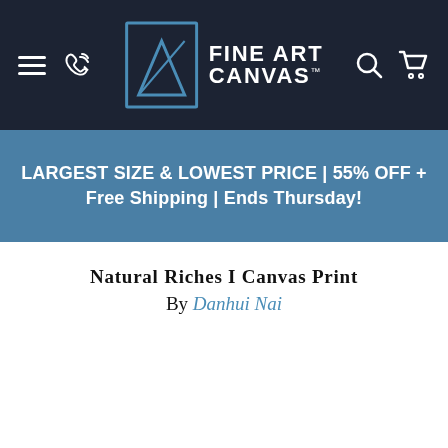FINE ART CANVAS
LARGEST SIZE & LOWEST PRICE | 55% OFF + Free Shipping | Ends Thursday!
Natural Riches I Canvas Print
By Danhui Nai